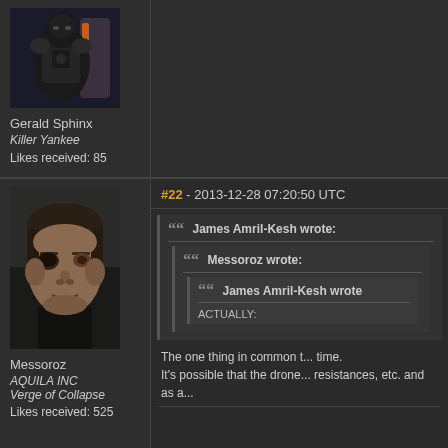[Figure (photo): Avatar image of Gerald Sphinx, a dark armored figure]
Gerald Sphinx
Killer Yankee
Likes received: 85
[Figure (photo): Avatar image of Messoroz, a 3D rendered male face]
Messoroz
AQUILA INC
Verge of Collapse
Likes received: 525
#22 - 2013-12-28 07:20:50 UTC
James Amril-Kesh wrote:
Messoroz wrote:
James Amril-Kesh wrote:
ACTUALLY:

The one thing in common t... time.
It's possible that the drone... resistances, etc. and as a...